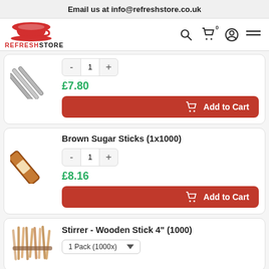Email us at info@refreshstore.co.uk
[Figure (logo): RefreshStore logo with red teacup icon and bold text REFRESHSTORE]
£7.80
Add to Cart
Brown Sugar Sticks (1x1000)
£8.16
Add to Cart
Stirrer - Wooden Stick 4" (1000)
1 Pack (1000x)